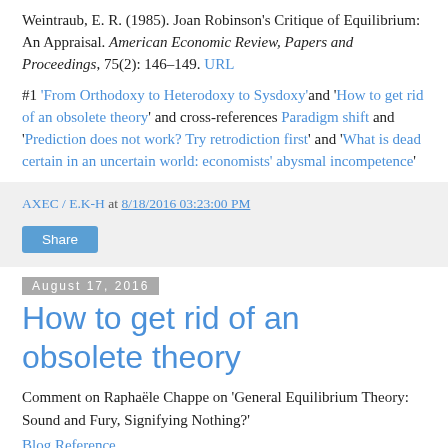Weintraub, E. R. (1985). Joan Robinson's Critique of Equilibrium: An Appraisal. American Economic Review, Papers and Proceedings, 75(2): 146–149. URL
#1 'From Orthodoxy to Heterodoxy to Sysdoxy' and 'How to get rid of an obsolete theory' and cross-references Paradigm shift and 'Prediction does not work? Try retrodiction first' and 'What is dead certain in an uncertain world: economists' abysmal incompetence'
AXEC / E.K-H at 8/18/2016 03:23:00 PM
Share
August 17, 2016
How to get rid of an obsolete theory
Comment on Raphaële Chappe on 'General Equilibrium Theory: Sound and Fury, Signifying Nothing?'
Blog Reference